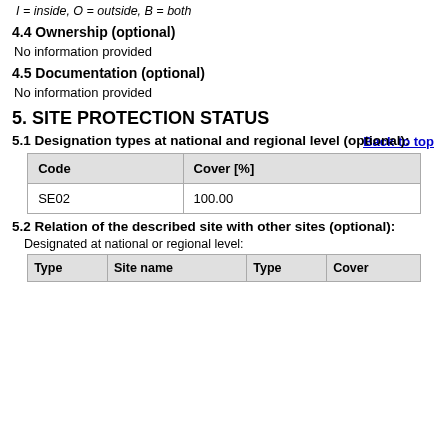I = inside, O = outside, B = both
4.4 Ownership (optional)
No information provided
4.5 Documentation (optional)
No information provided
5. SITE PROTECTION STATUS
5.1 Designation types at national and regional level (optional):
| Code | Cover [%] |
| --- | --- |
| SE02 | 100.00 |
5.2 Relation of the described site with other sites (optional):
Designated at national or regional level:
| Type | Site name | Type | Cover |
| --- | --- | --- | --- |